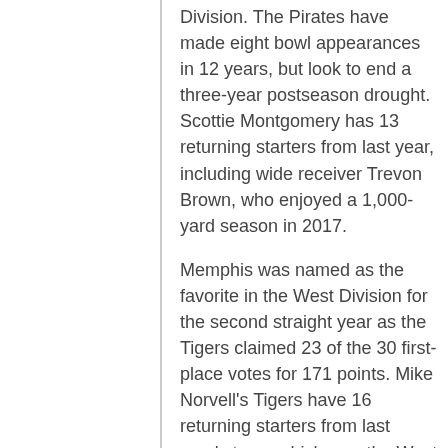Division. The Pirates have made eight bowl appearances in 12 years, but look to end a three-year postseason drought. Scottie Montgomery has 13 returning starters from last year, including wide receiver Trevon Brown, who enjoyed a 1,000-yard season in 2017.
Memphis was named as the favorite in the West Division for the second straight year as the Tigers claimed 23 of the 30 first-place votes for 171 points. Mike Norvell's Tigers have 16 returning starters from last year's team which won the West Division title and was ranked No. 25 in the final national polls. Running back Tony Pollard will be a key man on offense, but is a game-changer on special teams who averaged 40.0 yards and scored four touchdowns on kickoff returns on his way to back-to-back American Athletic Conference Special